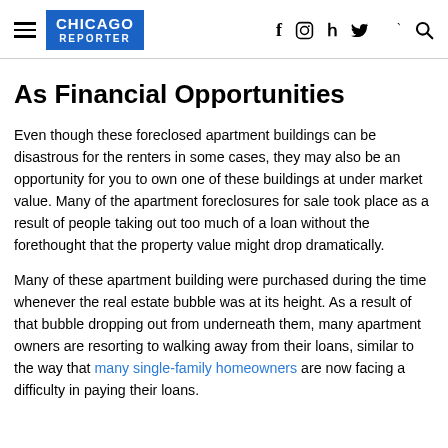CHICAGO REPORTER
As Financial Opportunities
Even though these foreclosed apartment buildings can be disastrous for the renters in some cases, they may also be an opportunity for you to own one of these buildings at under market value. Many of the apartment foreclosures for sale took place as a result of people taking out too much of a loan without the forethought that the property value might drop dramatically.
Many of these apartment building were purchased during the time whenever the real estate bubble was at its height. As a result of that bubble dropping out from underneath them, many apartment owners are resorting to walking away from their loans, similar to the way that many single-family homeowners are now facing a difficulty in paying their loans.